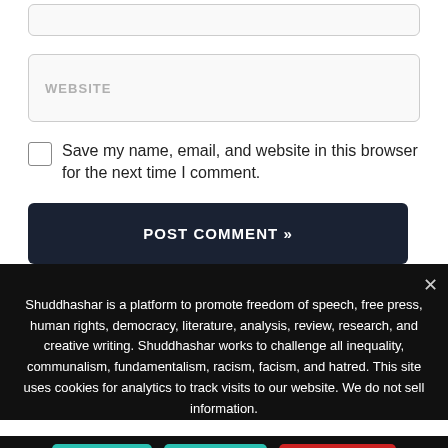[Figure (screenshot): Top input bar (partial, cropped at top)]
[Figure (screenshot): Website input field with placeholder text WEBSITE]
Save my name, email, and website in this browser for the next time I comment.
[Figure (screenshot): POST COMMENT button]
Shuddhashar is a platform to promote freedom of speech, free press, human rights, democracy, literature, analysis, review, research, and creative writing. Shuddhashar works to challenge all inequality, communalism, fundamentalism, racism, facism, and hatred. This site uses cookies for analytics to track visits to our website. We do not sell information.
[Figure (screenshot): I Agree, Decline, and Translate buttons at bottom]